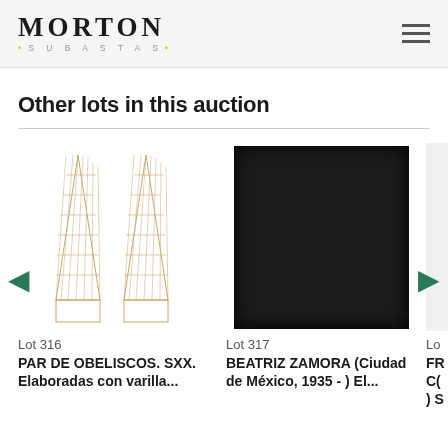MORTON SUBASTAS
Other lots in this auction
[Figure (photo): Two decorative obeliscos (obelisks) made of varilla (wire/rod), pyramid shaped with lattice/grid pattern on a white background. Lot 316.]
Lot 316
PAR DE OBELISCOS. SXX. Elaboradas con varilla...
[Figure (photo): Dark/black textured painting or artwork on a black background. Lot 317.]
Lot 317
BEATRIZ ZAMORA (Ciudad de México, 1935 - ) El...
Lo
FR C( ) S